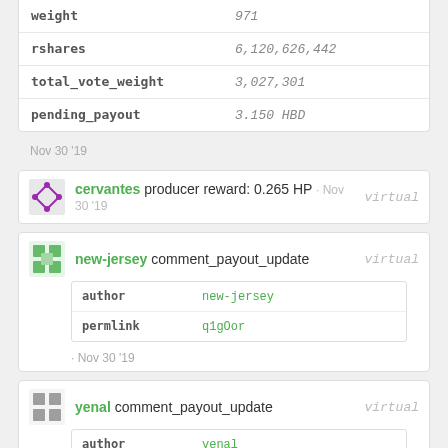| key | value |
| --- | --- |
| weight | 971 |
| rshares | 6,120,626,442 |
| total_vote_weight | 3,027,301 |
| pending_payout | 3.150 HBD |
Nov 30 '19
cervantes producer reward: 0.265 HP · Nov 30 '19 virtual
new-jersey comment_payout_update virtual
| key | value |
| --- | --- |
| author | new-jersey |
| permlink | q1gOor |
· Nov 30 '19
yenal comment_payout_update virtual
| key | value |
| --- | --- |
| author | yenal |
| permlink | appics-v1-appics-cm-138449 |
· Nov 30 '19
Show raw virtual op data
Help/Feedback